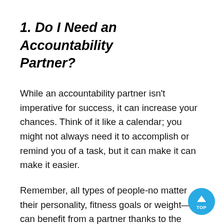1. Do I Need an Accountability Partner?
While an accountability partner isn't imperative for success, it can increase your chances. Think of it like a calendar; you might not always need it to accomplish or remind you of a task, but it can make it can make it easier.
Remember, all types of people-no matter their personality, fitness goals or weight—can benefit from a partner thanks to the multi-faceted nature of the fitness journey. Some will benefit more